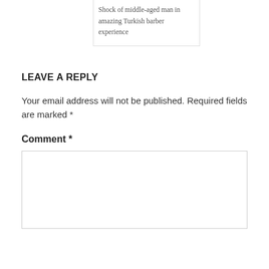Shock of middle-aged man in amazing Turkish barber experience
LEAVE A REPLY
Your email address will not be published. Required fields are marked *
Comment *